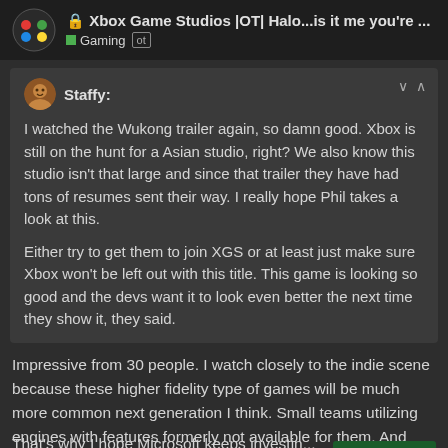Xbox Game Studios |OT| Halo...is it me you're ... Gaming ot
Staffy: I watched the Wukong trailer again, so damn good. Xbox is still on the hunt for a Asian studio, right? We also know this studio isn't that large and since that trailer they have had tons of resumes sent their way. I really hope Phil takes a look at this.

Either try to get them to join XGS or at least just make sure Xbox won't be left out with this title. This game is looking so good and the devs want it to look even better the next time they show it, they said.
Impressive from 30 people. I watch closely to the indie scene because these higher fidelity type of games will be much more common next generation I think. Small teams utilizing engines with features formerly not available for them. And much more efficient pipelines.
That's why I hope Microsoft keeps investin...